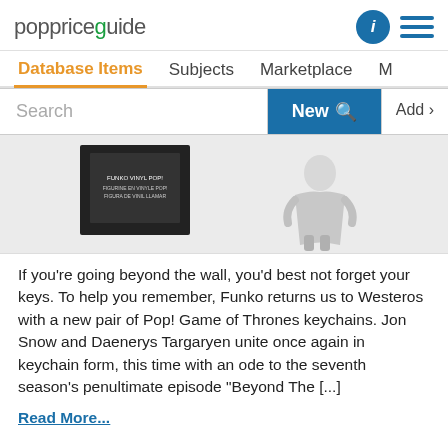poppriceguide
Database Items  Subjects  Marketplace  M
[Figure (screenshot): Search bar with 'Search' placeholder text, blue 'New' button with magnifier icon, and 'Add' button]
[Figure (photo): Partial image of a Funko Pop Game of Thrones product box on the left and a Funko Pop white-robed figure on the right]
If you’re going beyond the wall, you’d best not forget your keys. To help you remember, Funko returns us to Westeros with a new pair of Pop! Game of Thrones keychains. Jon Snow and Daenerys Targaryen unite once again in keychain form, this time with an ode to the seventh season’s penultimate episode “Beyond The [...]
Read More...
POSTED IN ANNOUNCEMENTS  TAGGED GAME OF THRONES, POP! GAME OF THRONES, POP! KEYCHAINS